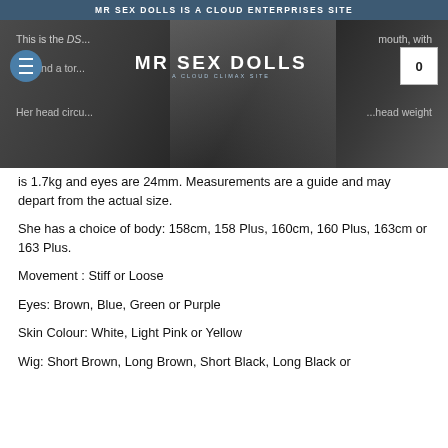MR SEX DOLLS IS A CLOUD ENTERPRISES SITE
[Figure (screenshot): Website header/navigation overlay on a dark product hero image showing 'MR SEX DOLLS - A CLOUD CLIMAX SITE' logo, hamburger menu button, and cart icon with '0'. Partial product description text visible above and below nav bar.]
is 1.7kg and eyes are 24mm. Measurements are a guide and may depart from the actual size.
She has a choice of body: 158cm, 158 Plus, 160cm, 160 Plus, 163cm or 163 Plus.
Movement : Stiff or Loose
Eyes: Brown, Blue, Green or Purple
Skin Colour: White, Light Pink or Yellow
Wig: Short Brown, Long Brown, Short Black, Long Black or